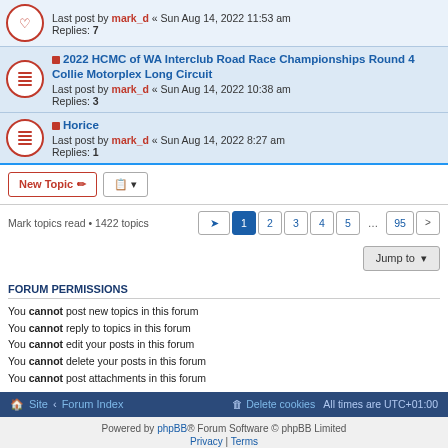Last post by mark_d « Sun Aug 14, 2022 11:53 am
Replies: 7
2022 HCMC of WA Interclub Road Race Championships Round 4 Collie Motorplex Long Circuit
Last post by mark_d « Sun Aug 14, 2022 10:38 am
Replies: 3
Horice
Last post by mark_d « Sun Aug 14, 2022 8:27 am
Replies: 1
New Topic | Mark topics read • 1422 topics | 1 2 3 4 5 ... 95 >
Jump to
FORUM PERMISSIONS
You cannot post new topics in this forum
You cannot reply to topics in this forum
You cannot edit your posts in this forum
You cannot delete your posts in this forum
You cannot post attachments in this forum
Site · Forum Index | Delete cookies  All times are UTC+01:00
Powered by phpBB® Forum Software © phpBB Limited
Privacy | Terms